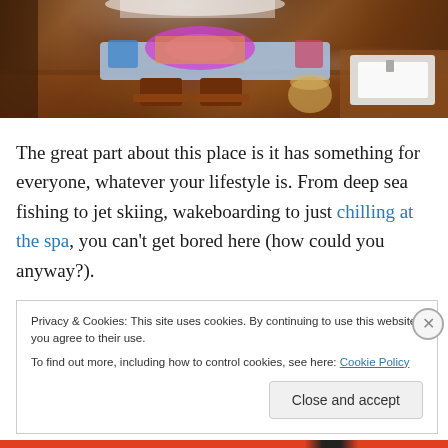[Figure (photo): Interior photo of a tropical resort room showing a colorful patterned sofa with vibrant cushions under a white canopy, two dark wood carved coffee tables, and a bathroom vanity with a white sink on the right side. Warm wooden floors and walls visible.]
The great part about this place is it has something for everyone, whatever your lifestyle is. From deep sea fishing to jet skiing, wakeboarding to just chilling at the spa, you can't get bored here (how could you anyway?).
Privacy & Cookies: This site uses cookies. By continuing to use this website, you agree to their use.
To find out more, including how to control cookies, see here: Cookie Policy
Close and accept